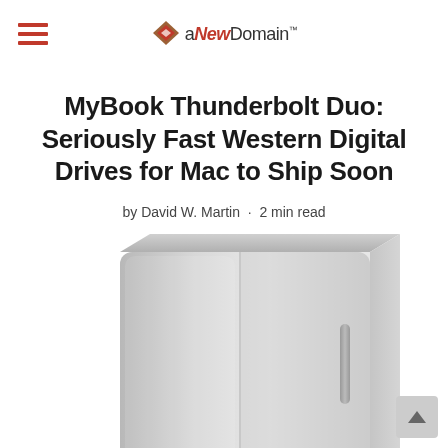aNewDomain
MyBook Thunderbolt Duo: Seriously Fast Western Digital Drives for Mac to Ship Soon
by David W. Martin · 2 min read
[Figure (photo): Silver Western Digital MyBook Thunderbolt Duo external hard drive, angled perspective view showing the metallic brushed aluminum enclosure with a vertical slot/button on the right side.]